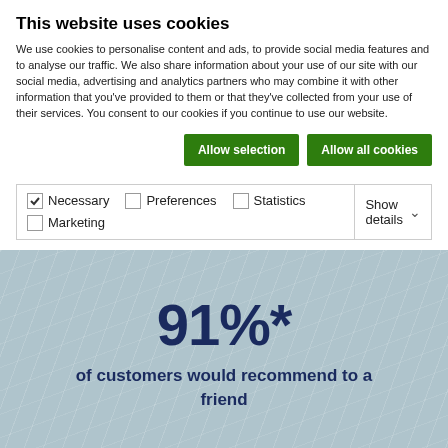This website uses cookies
We use cookies to personalise content and ads, to provide social media features and to analyse our traffic. We also share information about your use of our site with our social media, advertising and analytics partners who may combine it with other information that you've provided to them or that they've collected from your use of their services. You consent to our cookies if you continue to use our website.
Allow selection | Allow all cookies
☑ Necessary  ☐ Preferences  ☐ Statistics  ☐ Marketing  Show details ∨
91%*
of customers would recommend to a friend